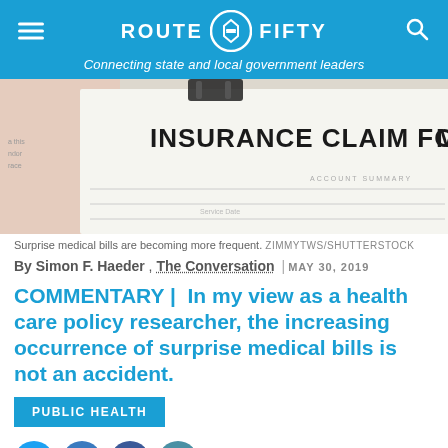ROUTE FIFTY — Connecting state and local government leaders
[Figure (photo): Close-up of an Insurance Claim Form on a clipboard with a binder clip, papers visible in background]
Surprise medical bills are becoming more frequent. ZIMMYTWS/SHUTTERSTOCK
By Simon F. Haeder , The Conversation | MAY 30, 2019
COMMENTARY | In my view as a health care policy researcher, the increasing occurrence of surprise medical bills is not an accident.
PUBLIC HEALTH